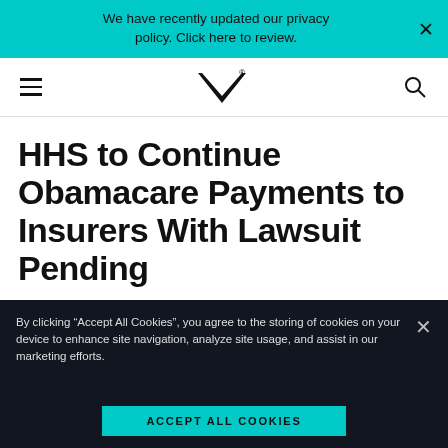We have recently updated our privacy policy. Click here to review.
[Figure (logo): Navigation bar with hamburger menu, MV logo with registered trademark, and search icon]
HHS to Continue Obamacare Payments to Insurers With Lawsuit Pending
[Figure (photo): Dark background photo partially visible at bottom of page]
By clicking “Accept All Cookies”, you agree to the storing of cookies on your device to enhance site navigation, analyze site usage, and assist in our marketing efforts.